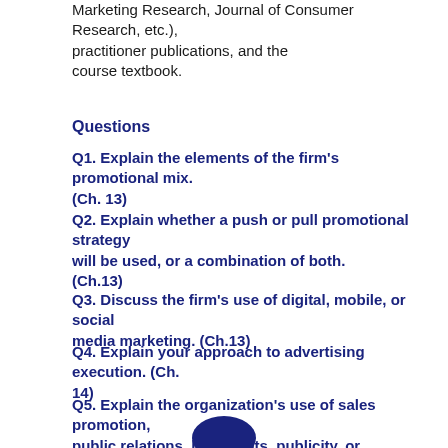Marketing Research, Journal of Consumer Research, etc.), practitioner publications, and the course textbook.
Questions
Q1. Explain the elements of the firm's promotional mix. (Ch. 13)
Q2. Explain whether a push or pull promotional strategy will be used, or a combination of both. (Ch.13)
Q3. Discuss the firm's use of digital, mobile, or social media marketing. (Ch.13)
Q4. Explain your approach to advertising execution. (Ch. 14)
Q5. Explain the organization's use of sales promotion, public relations, live events, publicity, or personal selling. (Ch. 14)
[Figure (logo): Dark blue circular logo/emblem at bottom center of page]